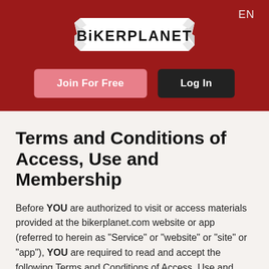EN
[Figure (logo): BikerPlanet logo — stylized text on a ribbon/banner in black and white, placed on a dark red header background]
Join For Free
Log In
Terms and Conditions of Access, Use and Membership
Before YOU are authorized to visit or access materials provided at the bikerplanet.com website or app (referred to herein as "Service" or "website" or "site" or "app"), YOU are required to read and accept the following Terms and Conditions of Access, Use and Membership (the